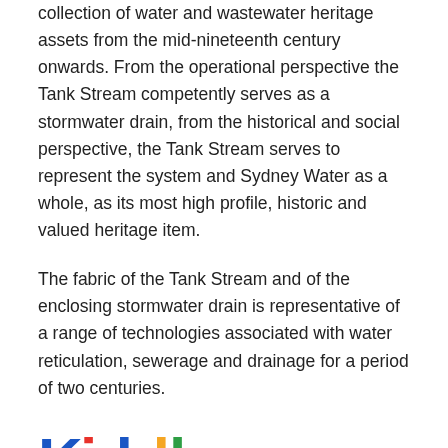collection of water and wastewater heritage assets from the mid-nineteenth century onwards. From the operational perspective the Tank Stream competently serves as a stormwater drain, from the historical and social perspective, the Tank Stream serves to represent the system and Sydney Water as a whole, as its most high profile, historic and valued heritage item.
The fabric of the Tank Stream and of the enclosing stormwater drain is representative of a range of technologies associated with water reticulation, sewerage and drainage for a period of two centuries.
[Figure (logo): Kiddle logo with colorful letters]
All content from Kiddle encyclopedia articles (including the article images and facts) can be freely used under Attribution-ShareAlike license, unless stated otherwise